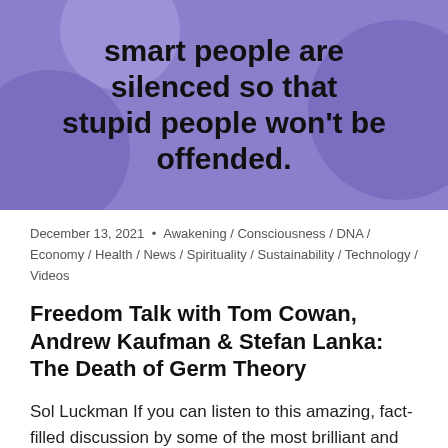[Figure (illustration): Purple/violet background with large decorative circles and bold black text reading: smart people are silenced so that stupid people won't be offended.]
December 13, 2021 • Awakening / Consciousness / DNA / Economy / Health / News / Spirituality / Sustainability / Technology / Videos
Freedom Talk with Tom Cowan, Andrew Kaufman & Stefan Lanka: The Death of Germ Theory
Sol Luckman If you can listen to this amazing, fact-filled discussion by some of the most brilliant and courageous